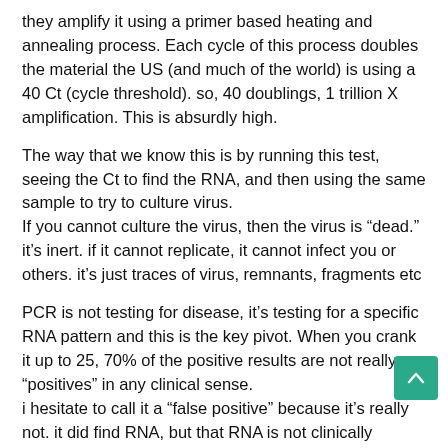they amplify it using a primer based heating and annealing process. Each cycle of this process doubles the material the US (and much of the world) is using a 40 Ct (cycle threshold). so, 40 doublings, 1 trillion X amplification. This is absurdly high.
The way that we know this is by running this test, seeing the Ct to find the RNA, and then using the same sample to try to culture virus.
If you cannot culture the virus, then the virus is "dead." it's inert. if it cannot replicate, it cannot infect you or others. it's just traces of virus, remnants, fragments etc
PCR is not testing for disease, it's testing for a specific RNA pattern and this is the key pivot. When you crank it up to 25, 70% of the positive results are not really "positives" in any clinical sense.
i hesitate to call it a "false positive" because it's really not. it did find RNA, but that RNA is not clinically relevant. It cannot make